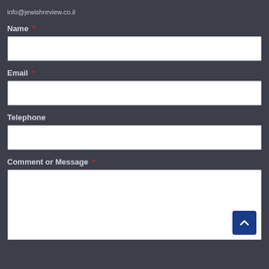info@jewishreview.co.il
Name *
Email *
Telephone
Comment or Message *